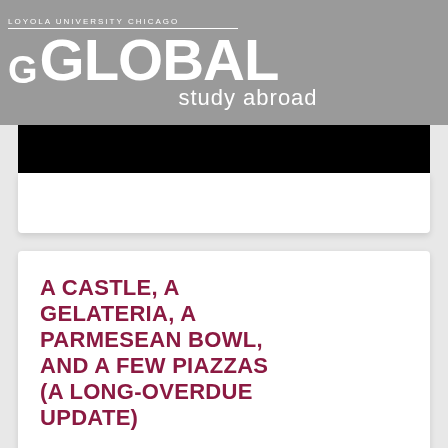LOYOLA UNIVERSITY CHICAGO
GO GLOBAL study abroad
[Figure (photo): Black image bar placeholder — redacted photo]
A CASTLE, A GELATERIA, A PARMESEAN BOWL, AND A FEW PIAZZAS (A LONG-OVERDUE UPDATE)
By Angie Stewart |